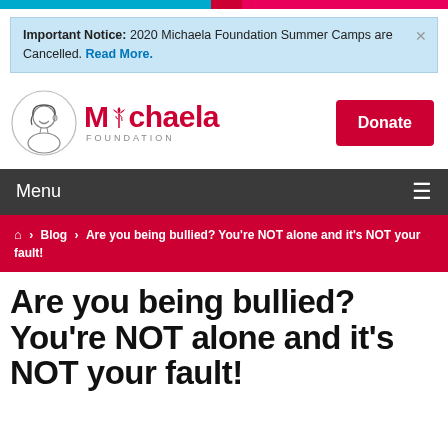Important Notice: 2020 Michaela Foundation Summer Camps are Cancelled. Read More.
[Figure (logo): Michaela Foundation logo with illustrated girl and rose graphic. Red text reads Michaela FOUNDATION with a donate button.]
Menu
Home > Blog > Are you being bullied? You're NOT alone and it's NOT your fault!
Are you being bullied? You're NOT alone and it's NOT your fault!